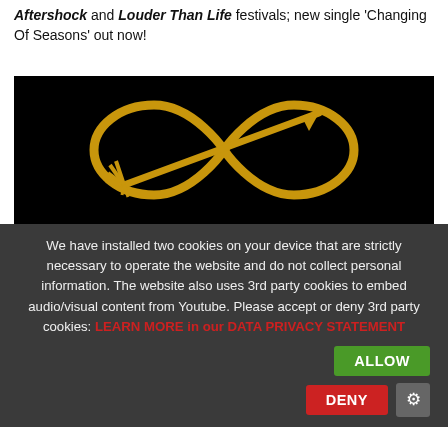Aftershock and Louder Than Life festivals; new single 'Changing Of Seasons' out now!
[Figure (illustration): Black background with a golden arrow-through-infinity symbol logo]
We have installed two cookies on your device that are strictly necessary to operate the website and do not collect personal information. The website also uses 3rd party cookies to embed audio/visual content from Youtube. Please accept or deny 3rd party cookies: LEARN MORE in our DATA PRIVACY STATEMENT
ALLOW
DENY